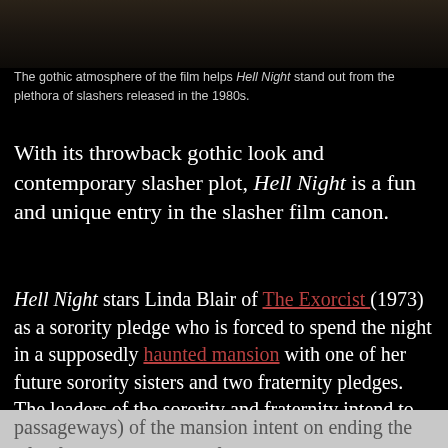[Figure (photo): Dark scene from the film Hell Night showing gothic atmosphere]
The gothic atmosphere of the film helps Hell Night stand out from the plethora of slashers released in the 1980s.
With its throwback gothic look and contemporary slasher plot, Hell Night is a fun and unique entry in the slasher film canon.
Hell Night stars Linda Blair of The Exorcist (1973) as a sorority pledge who is forced to spend the night in a supposedly haunted mansion with one of her future sorority sisters and two fraternity pledges. The leaders of the sorority and fraternity intend to torment the pledges throughout the night with a series of mean-spirited pranks, but there is a killer skulking through the shadows (and hidden passageways) of the mansion intent on ending the life of anyone who steps foot inside his home.